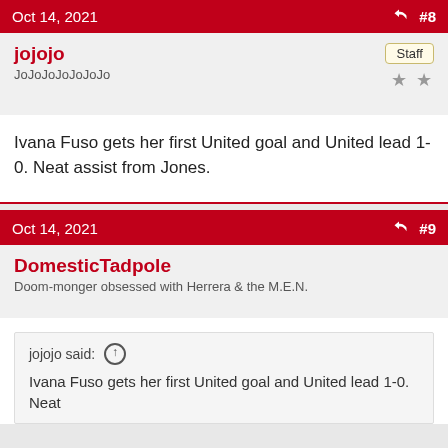Oct 14, 2021  #8
jojojo
JoJoJoJoJoJoJo
Staff
Ivana Fuso gets her first United goal and United lead 1-0. Neat assist from Jones.
Oct 14, 2021  #9
DomesticTadpole
Doom-monger obsessed with Herrera & the M.E.N.
jojojo said: ↑
Ivana Fuso gets her first United goal and United lead 1-0. Neat